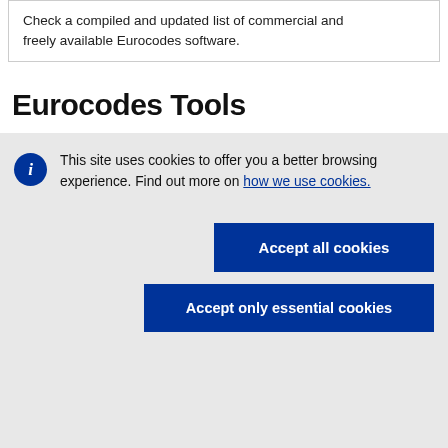Check a compiled and updated list of commercial and freely available Eurocodes software.
Eurocodes Tools
This site uses cookies to offer you a better browsing experience. Find out more on how we use cookies.